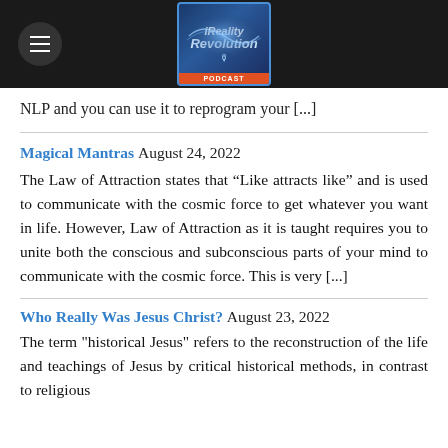[Figure (logo): Reality Revolution Podcast logo with dark header bar and hamburger menu icon]
NLP and you can use it to reprogram your [...]
Magical Mantras August 24, 2022
The Law of Attraction states that “Like attracts like” and is used to communicate with the cosmic force to get whatever you want in life. However, Law of Attraction as it is taught requires you to unite both the conscious and subconscious parts of your mind to communicate with the cosmic force. This is very [...]
Who Really Was Jesus Christ? August 23, 2022
The term "historical Jesus" refers to the reconstruction of the life and teachings of Jesus by critical historical methods, in contrast to religious